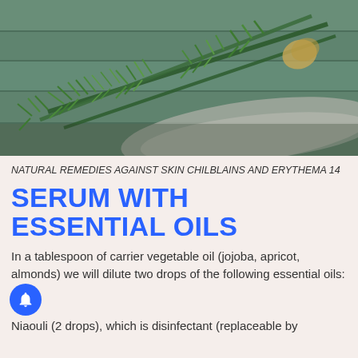[Figure (photo): Sprigs of fresh rosemary tied with twine, lying on rustic wooden boards with a linen cloth]
NATURAL REMEDIES AGAINST SKIN CHILBLAINS AND ERYTHEMA 14
SERUM WITH ESSENTIAL OILS
In a tablespoon of carrier vegetable oil (jojoba, apricot, almonds) we will dilute two drops of the following essential oils:
Niaouli (2 drops), which is disinfectant (replaceable by